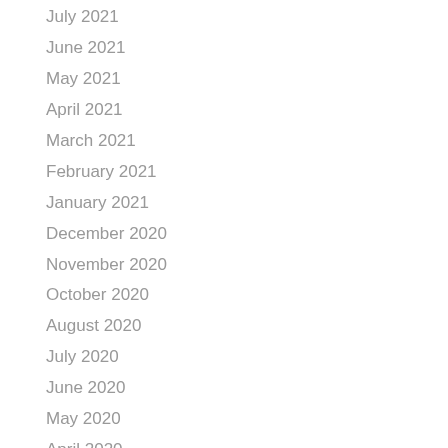July 2021
June 2021
May 2021
April 2021
March 2021
February 2021
January 2021
December 2020
November 2020
October 2020
August 2020
July 2020
June 2020
May 2020
April 2020